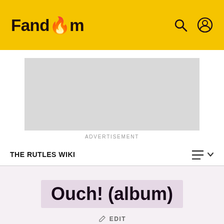Fandom
[Figure (screenshot): Advertisement placeholder box (grey rectangle)]
ADVERTISEMENT
THE RUTLES WIKI
Ouch! (album)
EDIT